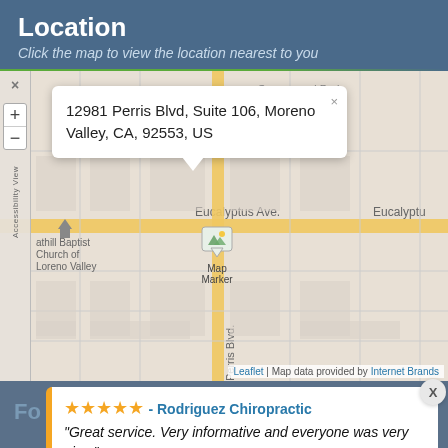Location
Click the map to view the location nearest to you
[Figure (map): Interactive street map showing Moreno Valley, CA area with roads including Eucalyptus Ave. and Perris Blvd. A map marker is shown at the location. A popup tooltip shows the address: 12981 Perris Blvd, Suite 106, Moreno Valley, CA, 92553, US. Map controls (zoom in/out) visible on the left. Attribution: Leaflet | Map data provided by Internet Brands.]
12981 Perris Blvd, Suite 106, Moreno Valley, CA, 92553, US
Leaflet | Map data provided by Internet Brands
★★★★★ - Rodriguez Chiropractic
"Great service. Very informative and everyone was very nice."
— EVELYN RUIZ, in the last 2 weeks
⚡ by Review Wave